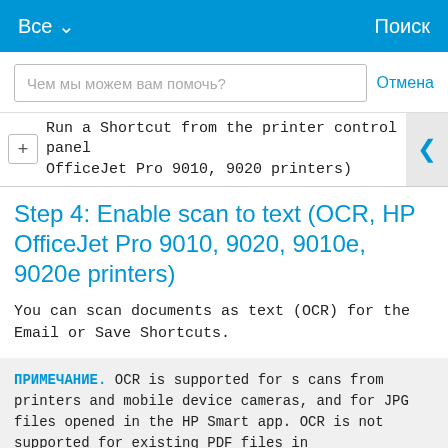Все ∨   Поиск
Чем мы можем вам помочь?   Отмена
Run a Shortcut from the printer control panel OfficeJet Pro 9010, 9020 printers)
Step 4: Enable scan to text (OCR, HP OfficeJet Pro 9010, 9020, 9010e, 9020e printers)
You can scan documents as text (OCR) for the Email or Save Shortcuts.
ПРИМЕЧАНИЕ. OCR is supported for scans from printers and mobile device cameras, and for JPG files opened in the HP Smart app. OCR is not supported for existing PDF files in